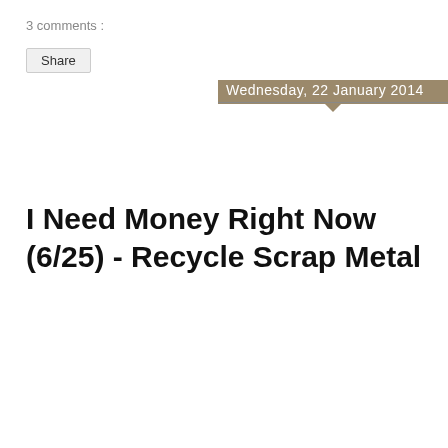3 comments :
Share
Wednesday, 22 January 2014
I Need Money Right Now (6/25) - Recycle Scrap Metal